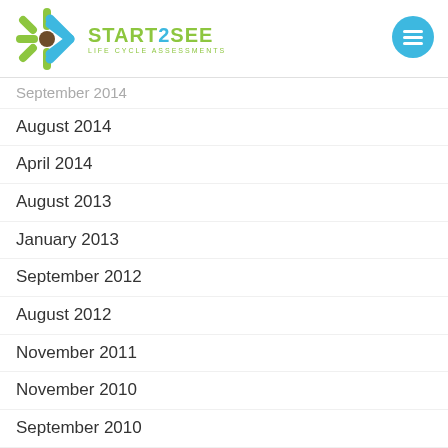START2SEE LIFE CYCLE ASSESSMENTS
September 2014
August 2014
April 2014
August 2013
January 2013
September 2012
August 2012
November 2011
November 2010
September 2010
August 2010
July 2010
June 2010
April 2010
July 2007